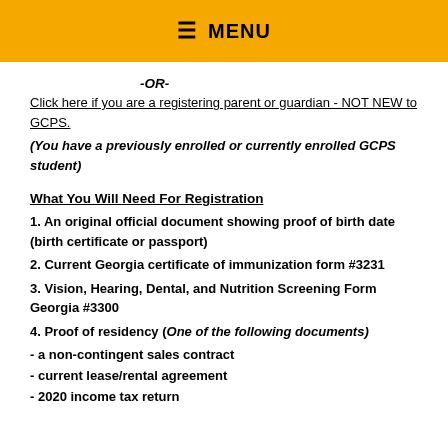☰ MENU
-OR-
Click here if you are a registering parent or guardian - NOT NEW to GCPS.
(You have a previously enrolled or currently enrolled GCPS student)
What You Will Need For Registration
1. An original official document showing proof of birth date (birth certificate or passport)
2. Current Georgia certificate of immunization form #3231
3. Vision, Hearing, Dental, and Nutrition Screening Form Georgia #3300
4. Proof of residency (One of the following documents)
- a non-contingent sales contract
- current lease/rental agreement
- 2020 income tax return